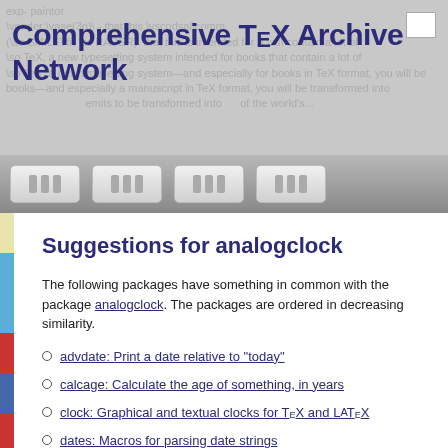Comprehensive TeX Archive Network
[Figure (screenshot): CTAN navigation bar with four grey buttons]
Suggestions for analogclock
The following packages have something in common with the package analogclock. The packages are ordered in decreasing similarity.
advdate: Print a date relative to "today"
calcage: Calculate the age of something, in years
clock: Graphical and textual clocks for TeX and LaTeX
dates: Macros for parsing date strings
eukdate: UK format dates, with weekday
greekdates: Provides ancient Greek day and month names, dates, etc